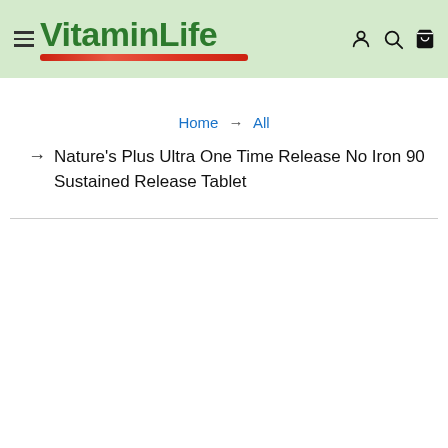VitaminLife — navigation header with logo, hamburger menu, user icon, search icon, and cart icon
Home → All
→ Nature's Plus Ultra One Time Release No Iron 90 Sustained Release Tablet